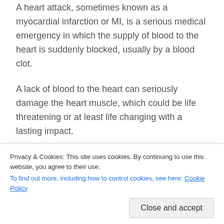A heart attack, sometimes known as a myocardial infarction or MI, is a serious medical emergency in which the supply of blood to the heart is suddenly blocked, usually by a blood clot.
A lack of blood to the heart can seriously damage the heart muscle, which could be life threatening or at least life changing with a lasting impact.
That's why it is so important that everyone knows what the symptoms are and knows to get help as quickly as possible if you are suffering from them.
Privacy & Cookies: This site uses cookies. By continuing to use this website, you agree to their use. To find out more, including how to control cookies, see here: Cookie Policy
symptoms such as chest pain, this could be a heart